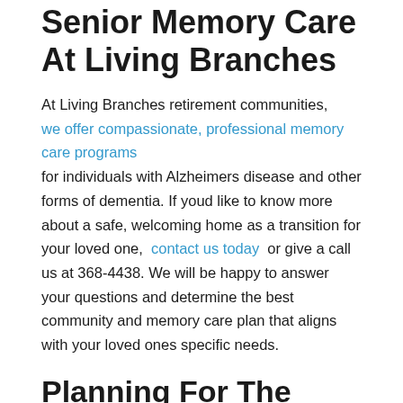Senior Memory Care At Living Branches
At Living Branches retirement communities, we offer compassionate, professional memory care programs for individuals with Alzheimers disease and other forms of dementia. If youd like to know more about a safe, welcoming home as a transition for your loved one, contact us today or give a call us at 368-4438. We will be happy to answer your questions and determine the best community and memory care plan that aligns with your loved ones specific needs.
Planning For The Future: Tips For Caregivers